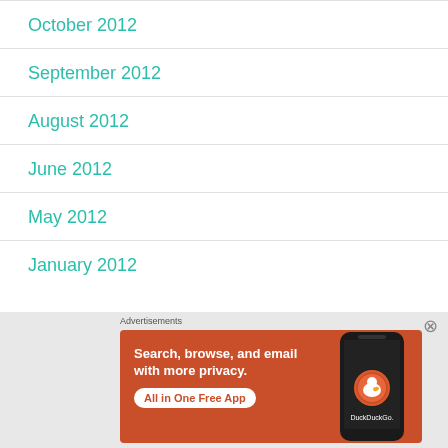October 2012
September 2012
August 2012
June 2012
May 2012
January 2012
[Figure (other): DuckDuckGo advertisement banner with orange background. Text: 'Search, browse, and email with more privacy. All in One Free App'. Shows a DuckDuckGo app on a phone.]